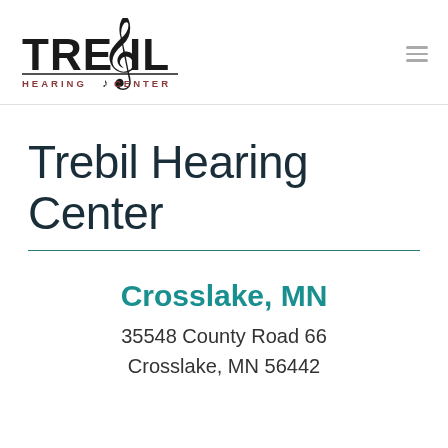[Figure (logo): Trebil Hearing Center logo with treble clef incorporated into the word TREBIL, and 'HEARING CENTER' subtitle in red-brown color]
Trebil Hearing Center
Crosslake, MN
35548 County Road 66
Crosslake, MN 56442